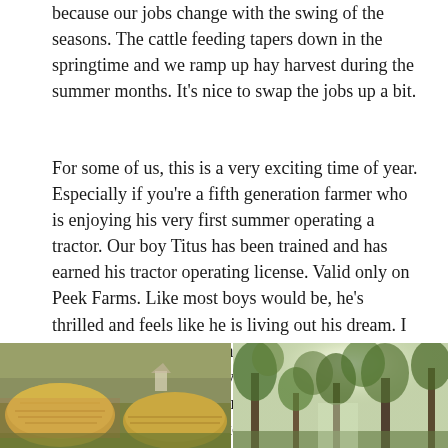because our jobs change with the swing of the seasons. The cattle feeding tapers down in the springtime and we ramp up hay harvest during the summer months. It's nice to swap the jobs up a bit.
For some of us, this is a very exciting time of year. Especially if you're a fifth generation farmer who is enjoying his very first summer operating a tractor. Our boy Titus has been trained and has earned his tractor operating license. Valid only on Peek Farms. Like most boys would be, he's thrilled and feels like he is living out his dream. I smile to myself as he heads out to work most mornings with his Daddy. He always has his little lunch box packed and is ready to go. Our young apprentice is doing an excellent job.
[Figure (photo): Photograph of hay bales in a field, showing green and brown straw.]
[Figure (photo): Photograph of trees with sunlight filtering through the leaves.]